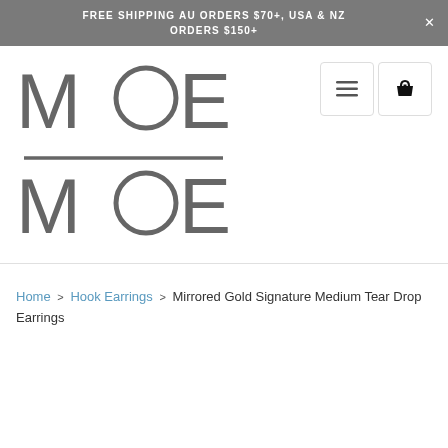FREE SHIPPING AU ORDERS $70+, USA & NZ ORDERS $150+
[Figure (logo): Moe Moe logo — stylized text with MOE over a horizontal line over MOE, with circular letterforms]
Home > Hook Earrings > Mirrored Gold Signature Medium Tear Drop Earrings